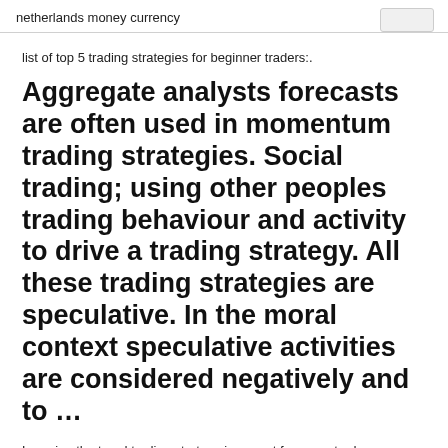netherlands money currency
list of top 5 trading strategies for beginner traders:.
Aggregate analysts forecasts are often used in momentum trading strategies. Social trading; using other peoples trading behaviour and activity to drive a trading strategy. All these trading strategies are speculative. In the moral context speculative activities are considered negatively and to …
Learning the trend trading strategy is a must for every trader